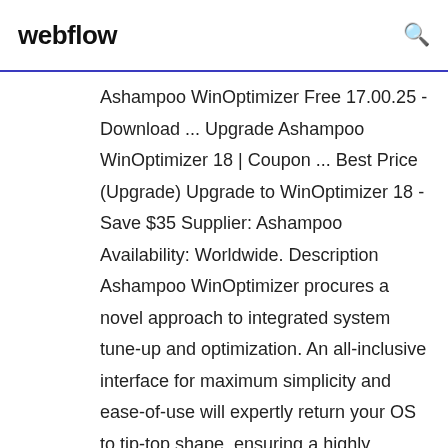webflow
Ashampoo WinOptimizer Free 17.00.25 - Download ... Upgrade Ashampoo WinOptimizer 18 | Coupon ... Best Price (Upgrade) Upgrade to WinOptimizer 18 - Save $35 Supplier: Ashampoo Availability: Worldwide. Description Ashampoo WinOptimizer procures a novel approach to integrated system tune-up and optimization. An all-inclusive interface for maximum simplicity and ease-of-use will expertly return your OS to tip-top shape, ensuring a highly proficient computing operation that will allow you to Ashampoo Winoptimizer 17 - Download Software Ashampoo Winoptimizer 17, Upgrade FileMaker Pro 11 Advanced, Oem Adobe Audition CC 2015